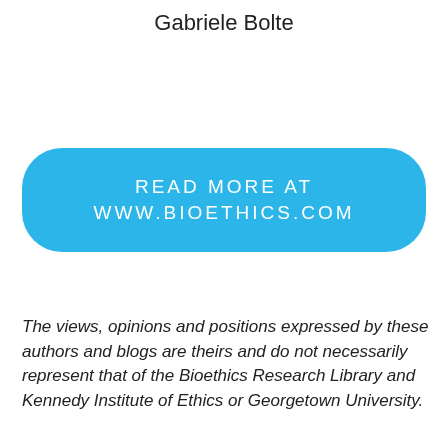Gabriele Bolte
READ MORE AT
WWW.BIOETHICS.COM
The views, opinions and positions expressed by these authors and blogs are theirs and do not necessarily represent that of the Bioethics Research Library and Kennedy Institute of Ethics or Georgetown University.